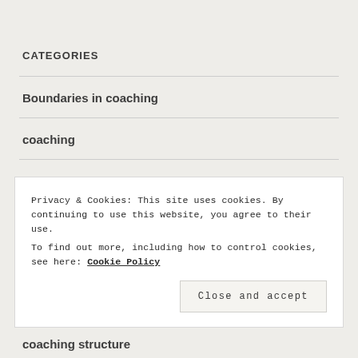CATEGORIES
Boundaries in coaching
coaching
Coaching emotions
coaching skills
Privacy & Cookies: This site uses cookies. By continuing to use this website, you agree to their use.
To find out more, including how to control cookies, see here: Cookie Policy
coaching structure